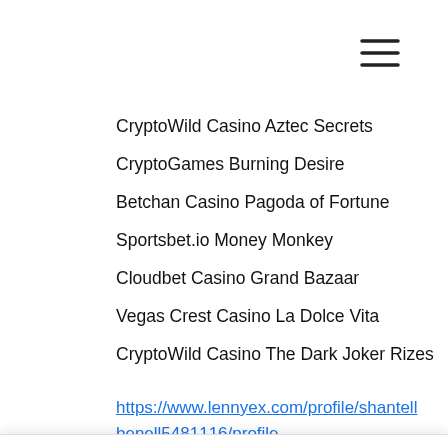[Figure (other): Hamburger menu icon (three horizontal lines)]
CryptoWild Casino Aztec Secrets
CryptoGames Burning Desire
Betchan Casino Pagoda of Fortune
Sportsbet.io Money Monkey
Cloudbet Casino Grand Bazaar
Vegas Crest Casino La Dolce Vita
CryptoWild Casino The Dark Joker Rizes
https://www.lennyex.com/profile/shantellbenell5481116/profile
We use cookies and similar technologies to enable services and functionality on our site and to understand your interaction with our service. By clicking on accept, you agree to our use of such technologies for marketing and analytics.
Cookie Settings
Accept